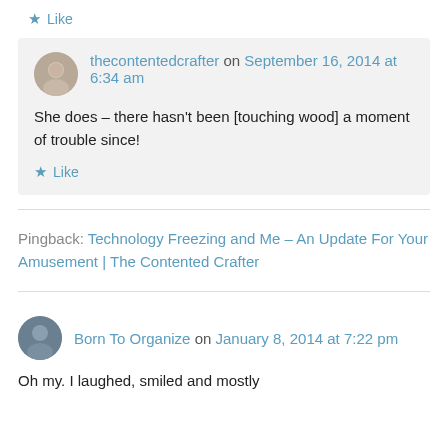★ Like
thecontentedcrafter on September 16, 2014 at 6:34 am
She does – there hasn't been [touching wood] a moment of trouble since!
★ Like
Pingback: Technology Freezing and Me – An Update For Your Amusement | The Contented Crafter
Born To Organize on January 8, 2014 at 7:22 pm
Oh my. I laughed, smiled and mostly